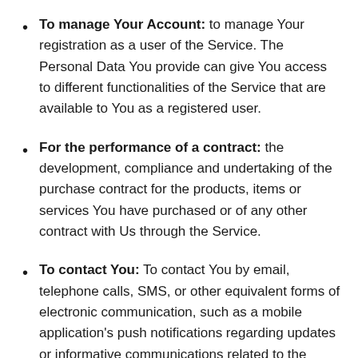To manage Your Account: to manage Your registration as a user of the Service. The Personal Data You provide can give You access to different functionalities of the Service that are available to You as a registered user.
For the performance of a contract: the development, compliance and undertaking of the purchase contract for the products, items or services You have purchased or of any other contract with Us through the Service.
To contact You: To contact You by email, telephone calls, SMS, or other equivalent forms of electronic communication, such as a mobile application's push notifications regarding updates or informative communications related to the functionalities, products or contracted services, including the security updates,